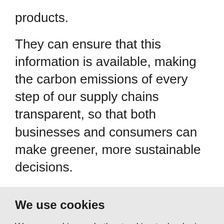products.
They can ensure that this information is available, making the carbon emissions of every step of our supply chains transparent, so that both businesses and consumers can make greener, more sustainable decisions.
We use cookies
We use cookies and other tracking technologies to improve your browsing experience on our website, to show you personalized content and targeted ads, to analyze our website traffic, and to understand where our visitors are coming from.